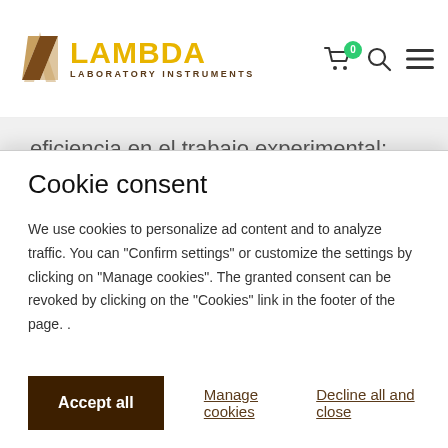[Figure (logo): Lambda Laboratory Instruments logo with geometric lambda icon in brown and yellow, with text LAMBDA in yellow and LABORATORY INSTRUMENTS below in brown]
eficiencia en el trabajo experimental: Los equipos de laboratorio LAMBDA son especialmente diseñados para un trabajo de laboratorio de alta calidad, con facilidad y larga vida útil en laboratorios e industrias.
Cookie consent
We use cookies to personalize ad content and to analyze traffic. You can "Confirm settings" or customize the settings by clicking on "Manage cookies". The granted consent can be revoked by clicking on the "Cookies" link in the footer of the page. .
Accept all
Manage cookies
Decline all and close